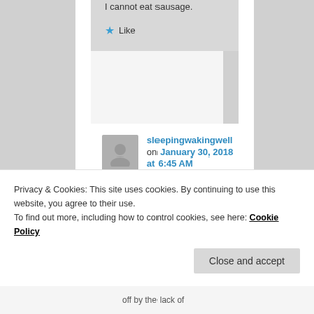I cannot eat sausage.
★ Like
sleepingwakingwell on January 30, 2018 at 6:45 AM said:
Privacy & Cookies: This site uses cookies. By continuing to use this website, you agree to their use.
To find out more, including how to control cookies, see here: Cookie Policy
Close and accept
off by the lack of